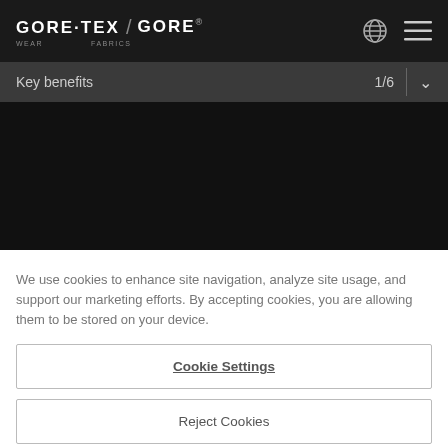GORE-TEX / GORE WEAR FABRICS
Key benefits 1/6
[Figure (photo): Dark/black image area representing a product or background scene]
We use cookies to enhance site navigation, analyze site usage, and support our marketing efforts. By accepting cookies, you are allowing them to be stored on your device.
Cookie Settings
Reject Cookies
Accept Cookies